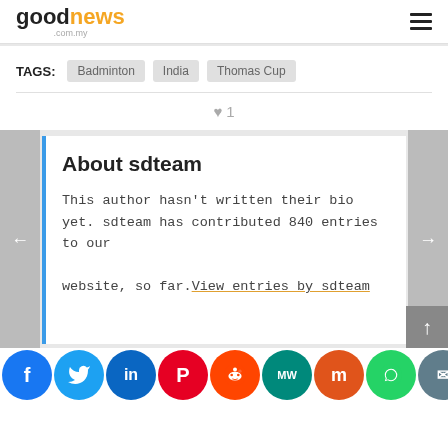goodnews .com.my
TAGS: Badminton  India  Thomas Cup
♥ 1
About sdteam
This author hasn't written their bio yet. sdteam has contributed 840 entries to our website, so far.View entries by sdteam